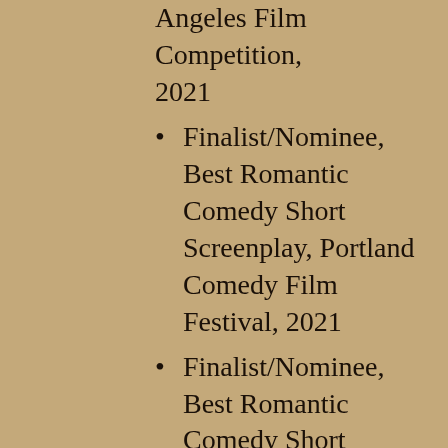Angeles Film Competition, 2021
Finalist/Nominee, Best Romantic Comedy Short Screenplay, Portland Comedy Film Festival, 2021
Finalist/Nominee, Best Romantic Comedy Short Screenplay, Houston Film Festival, 2021
Finalist, Best Romantic Comedy Screenplay, Atlanta Comedy Film Festival, 2021
Finalist (2nd place), Sedona International Film Festival Screenplay Competition, 2021